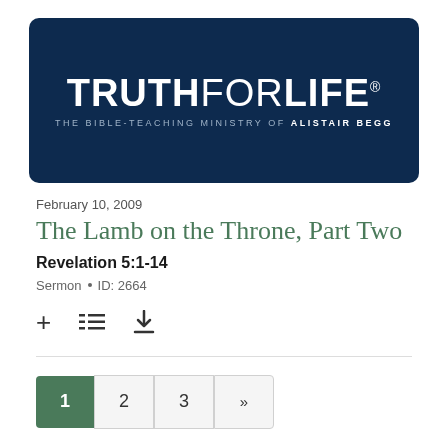[Figure (logo): Truth For Life logo banner — dark navy blue background with 'TRUTHFORLIFE' in large white bold/light mixed weight text and subtitle 'THE BIBLE-TEACHING MINISTRY OF ALISTAIR BEGG' in spaced caps]
February 10, 2009
The Lamb on the Throne, Part Two
Revelation 5:1-14
Sermon • ID: 2664
+ (add) list (reading list) ↓ (download) icons
Pagination: 1 2 3 »